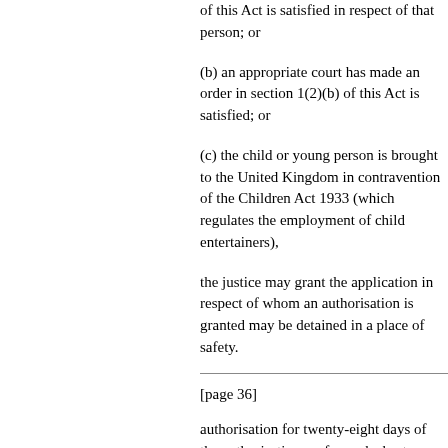of this Act is satisfied in respect of that person; or
(b) an appropriate court has made an order in section 1(2)(b) of this Act is satisfied; or
(c) the child or young person is brought to the United Kingdom in contravention of the Children Act 1933 (which regulates the employment of child entertainers),
the justice may grant the application in respect of whom an authorisation is granted may be detained in a place of safety.
[page 36]
authorisation for twenty-eight days of the authorisation, or for such shorter period as may be specified in the authorisation.
(2) Any constable may detain a person in whom the constable has reason to believe the conditions set out in section 1(